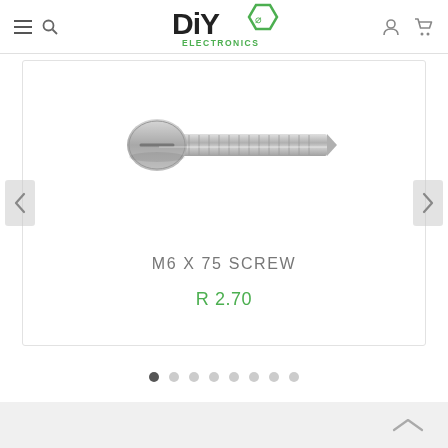DIY Electronics
[Figure (photo): A silver M6 x 75 machine screw with a slotted pan head, shown diagonally on a white background.]
M6 X 75 SCREW
R 2.70
Back to top